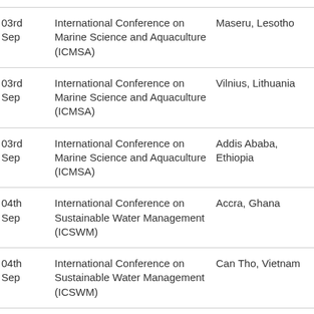| Date | Conference | Location |
| --- | --- | --- |
| 03rd Sep | International Conference on Marine Science and Aquaculture (ICMSA) | Maseru, Lesotho |
| 03rd Sep | International Conference on Marine Science and Aquaculture (ICMSA) | Vilnius, Lithuania |
| 03rd Sep | International Conference on Marine Science and Aquaculture (ICMSA) | Addis Ababa, Ethiopia |
| 04th Sep | International Conference on Sustainable Water Management (ICSWM) | Accra, Ghana |
| 04th Sep | International Conference on Sustainable Water Management (ICSWM) | Can Tho, Vietnam |
| 04th Sep | International Conference on Marine Science and... | Lusaka, Zambia |